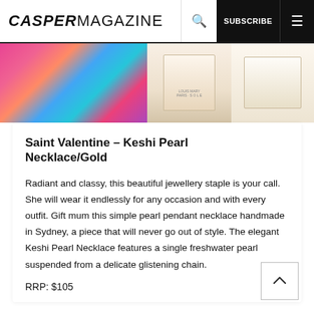CASPERMAGAZINE  🔍  SUBSCRIBE  ≡
[Figure (photo): Colorful product image strip showing a patterned gift box and two candle/jar products on a light background]
Saint Valentine – Keshi Pearl Necklace/Gold
Radiant and classy, this beautiful jewellery staple is your call. She will wear it endlessly for any occasion and with every outfit. Gift mum this simple pearl pendant necklace handmade in Sydney, a piece that will never go out of style. The elegant Keshi Pearl Necklace features a single freshwater pearl suspended from a delicate glistening chain.
RRP: $105